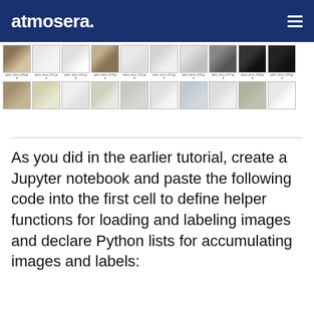atmosera.
[Figure (photo): Two rows of polar bear image thumbnails with filenames below each (polar_bear_020.jpg through polar_bear_029.jpg in first row, and additional thumbnails in second row)]
As you did in the earlier tutorial, create a Jupyter notebook and paste the following code into the first cell to define helper functions for loading and labeling images and declare Python lists for accumulating images and labels: